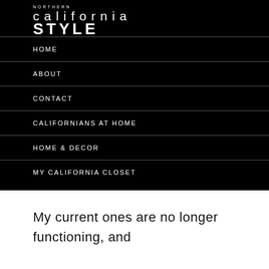NORTHERN california STYLE
HOME
ABOUT
CONTACT
CALIFORNIANS AT HOME
HOME & DECOR
MY CALIFORNIA CLOSET
My current ones are no longer functioning, and these have a pretty look and decent price too..